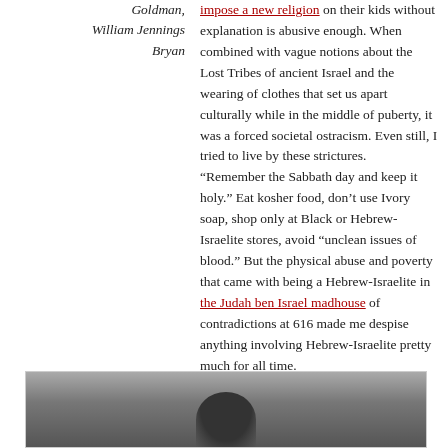Goldman, William Jennings Bryan
impose a new religion on their kids without explanation is abusive enough. When combined with vague notions about the Lost Tribes of ancient Israel and the wearing of clothes that set us apart culturally while in the middle of puberty, it was a forced societal ostracism. Even still, I tried to live by these strictures. “Remember the Sabbath day and keep it holy.” Eat kosher food, don’t use Ivory soap, shop only at Black or Hebrew-Israelite stores, avoid “unclean issues of blood.” But the physical abuse and poverty that came with being a Hebrew-Israelite in the Judah ben Israel madhouse of contradictions at 616 made me despise anything involving Hebrew-Israelite pretty much for all time.
[Figure (photo): Black and white photograph, partially visible at the bottom of the page, showing a person or portrait figure, cropped at the top of the image.]